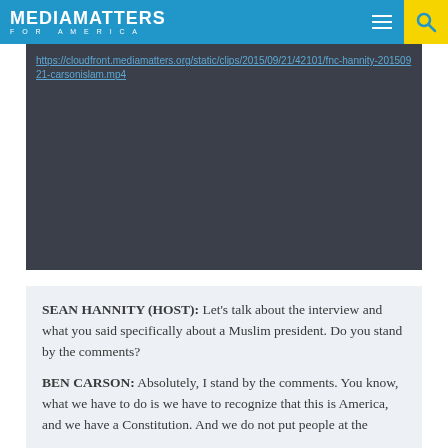MEDIA MATTERS FOR AMERICA
https://cloudfront.mediamatters.org/static/clips/2015/09/21/42101/fnc-hannity-20150921-carsonislam.mp4
[Figure (screenshot): Dark video player area with a URL link at the top]
SEAN HANNITY (HOST): Let’s talk about the interview and what you said specifically about a Muslim president. Do you stand by the comments?

BEN CARSON: Absolutely, I stand by the comments. You know, what we have to do is we have to recognize that this is America, and we have a Constitution. And we do not put people at the